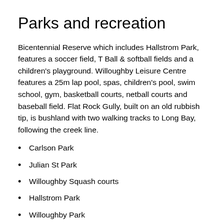Parks and recreation
Bicentennial Reserve which includes Hallstrom Park, features a soccer field, T Ball & softball fields and a children's playground. Willoughby Leisure Centre features a 25m lap pool, spas, children's pool, swim school, gym, basketball courts, netball courts and baseball field. Flat Rock Gully, built on an old rubbish tip, is bushland with two walking tracks to Long Bay, following the creek line.
Carlson Park
Julian St Park
Willoughby Squash courts
Hallstrom Park
Willoughby Park